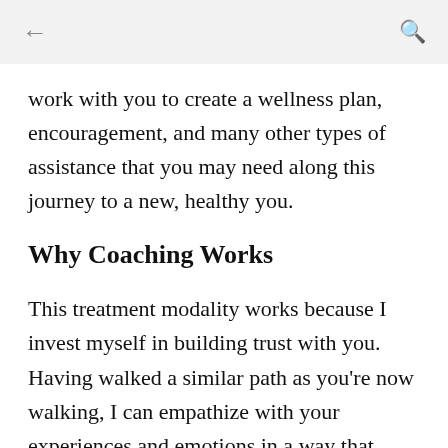← Q
work with you to create a wellness plan, encouragement, and many other types of assistance that you may need along this journey to a new, healthy you.
Why Coaching Works
This treatment modality works because I invest myself in building trust with you. Having walked a similar path as you're now walking, I can empathize with your experiences and emotions in a way that most people can't. Therefore, as an addiction recovery coach, I'm able to understand